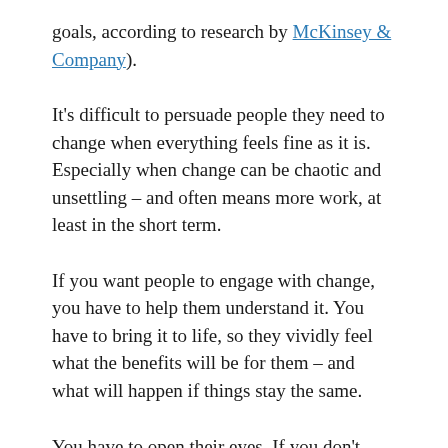goals, according to research by McKinsey & Company).
It’s difficult to persuade people they need to change when everything feels fine as it is. Especially when change can be chaotic and unsettling – and often means more work, at least in the short term.
If you want people to engage with change, you have to help them understand it. You have to bring it to life, so they vividly feel what the benefits will be for them – and what will happen if things stay the same.
You have to open their eyes. If you don’t,